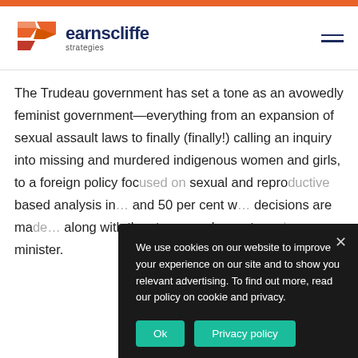[Figure (logo): Earnscliffe Strategies logo with orange/red geometric arrow icon and dark blue wordmark]
The Trudeau government has set a tone as an avowedly feminist government—everything from an expansion of sexual assault laws to finally (finally!) calling an inquiry into missing and murdered indigenous women and girls, to a foreign policy foc[used on] sexual and repro[ductive rights,] based analysis in[…] and 50 per cent w[…] decisions are ma[de…] along with the ste[…] now longest-serv[ing…] minister.
We use cookies on our website to improve your experience on our site and to show you relevant advertising. To find out more, read our policy on cookie and privacy.